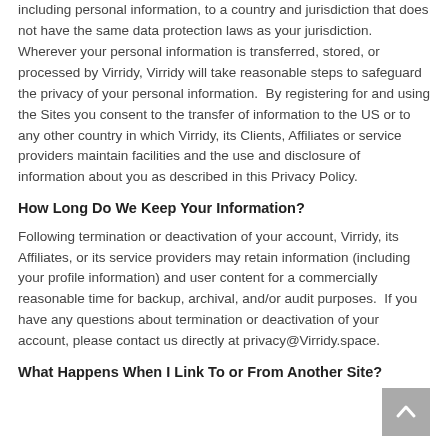including personal information, to a country and jurisdiction that does not have the same data protection laws as your jurisdiction.  Wherever your personal information is transferred, stored, or processed by Virridy, Virridy will take reasonable steps to safeguard the privacy of your personal information.  By registering for and using the Sites you consent to the transfer of information to the US or to any other country in which Virridy, its Clients, Affiliates or service providers maintain facilities and the use and disclosure of information about you as described in this Privacy Policy.
How Long Do We Keep Your Information?
Following termination or deactivation of your account, Virridy, its Affiliates, or its service providers may retain information (including your profile information) and user content for a commercially reasonable time for backup, archival, and/or audit purposes.  If you have any questions about termination or deactivation of your account, please contact us directly at privacy@Virridy.space.
What Happens When I Link To or From Another Site?